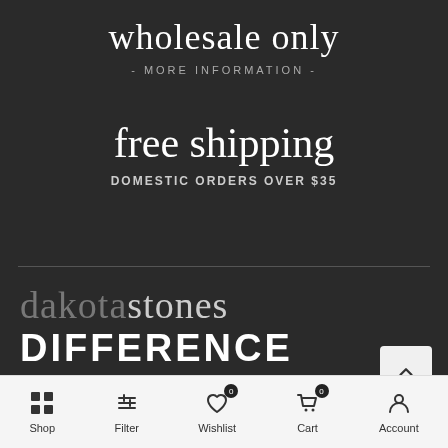wholesale only
- MORE INFORMATION -
free shipping
DOMESTIC ORDERS OVER $35
dakotastones DIFFERENCE
Shop  Filter  Wishlist  Cart  Account